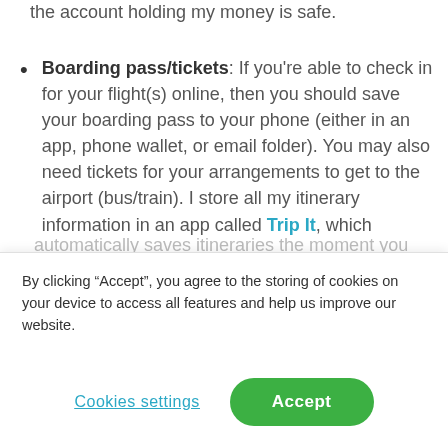the account holding my money is safe.
Boarding pass/tickets: If you're able to check in for your flight(s) online, then you should save your boarding pass to your phone (either in an app, phone wallet, or email folder). You may also need tickets for your arrangements to get to the airport (bus/train). I store all my itinerary information in an app called Trip It, which automatically saves itineraries the moment you
By clicking “Accept”, you agree to the storing of cookies on your device to access all features and help us improve our website.
Cookies settings
Accept